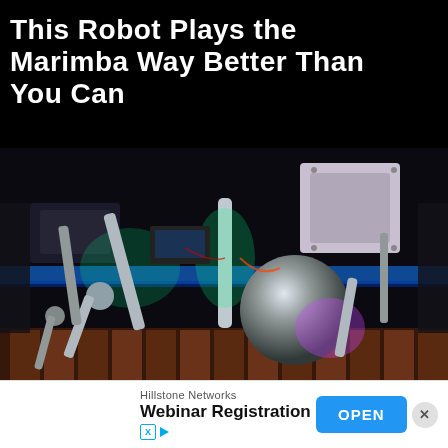This Robot Plays the Marimba Way Better Than You Can
[Figure (photo): A robot with metallic arms and a spherical joint illuminated by green and purple lights, positioned above marimba bars in a dark environment, photographed from a low angle.]
Hillstone Networks Webinar Registration